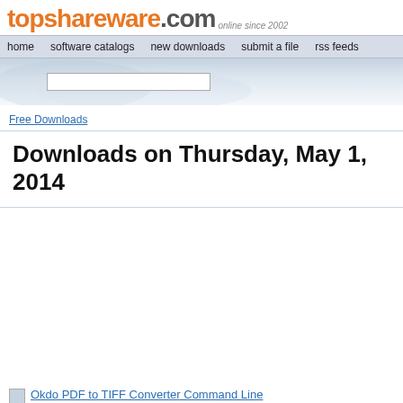topshareware.com online since 2002
home | software catalogs | new downloads | submit a file | rss feeds
[Figure (screenshot): Banner area with search box on blue-grey gradient background]
Free Downloads
Downloads on Thursday, May 1, 2014
Okdo PDF to TIFF Converter Command Line
Quickly convert PDF files into TIFF image